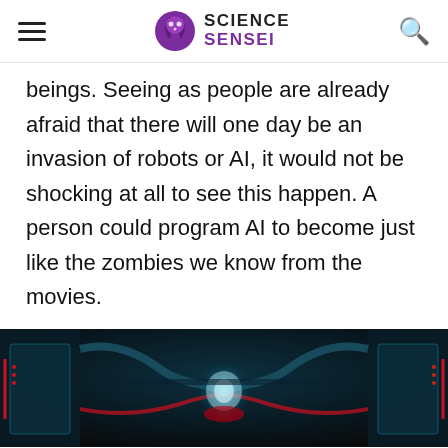SCIENCE SENSEI
beings. Seeing as people are already afraid that there will one day be an invasion of robots or AI, it would not be shocking at all to see this happen. A person could program AI to become just like the zombies we know from the movies.
[Figure (photo): Dark sci-fi themed image with teal/red lighting showing mechanical or robotic elements with a glowing orb in the center]
Advertisement
[Figure (screenshot): Advertisement banner showing a restaurant logo with orange background, checkmarks for Dine-in and Curbside pickup, and a blue diamond navigation arrow icon]